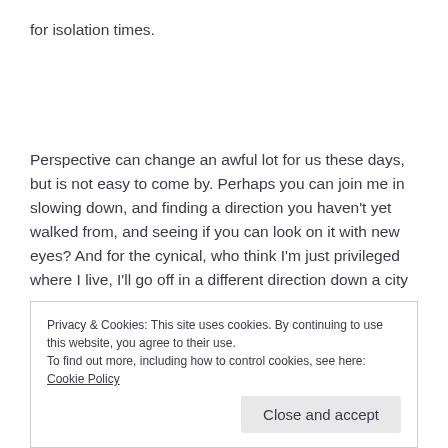for isolation times.
Perspective can change an awful lot for us these days, but is not easy to come by. Perhaps you can join me in slowing down, and finding a direction you haven't yet walked from, and seeing if you can look on it with new eyes? And for the cynical, who think I'm just privileged where I live, I'll go off in a different direction down a city
Privacy & Cookies: This site uses cookies. By continuing to use this website, you agree to their use.
To find out more, including how to control cookies, see here: Cookie Policy
Close and accept